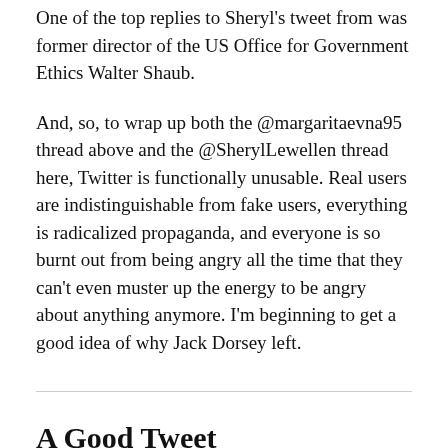One of the top replies to Sheryl's tweet from was former director of the US Office for Government Ethics Walter Shaub.
And, so, to wrap up both the @margaritaevna95 thread above and the @SherylLewellen thread here, Twitter is functionally unusable. Real users are indistinguishable from fake users, everything is radicalized propaganda, and everyone is so burnt out from being angry all the time that they can't even muster up the energy to be angry about anything anymore. I'm beginning to get a good idea of why Jack Dorsey left.
A Good Tweet